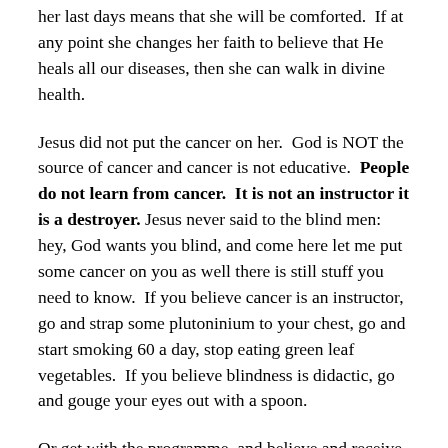her last days means that she will be comforted.  If at any point she changes her faith to believe that He heals all our diseases, then she can walk in divine health.
Jesus did not put the cancer on her.  God is NOT the source of cancer and cancer is not educative.  People do not learn from cancer.  It is not an instructor it is a destroyer. Jesus never said to the blind men: hey, God wants you blind, and come here let me put some cancer on you as well there is still stuff you need to know.  If you believe cancer is an instructor, go and strap some plutoninium to your chest, go and start smoking 60 a day, stop eating green leaf vegetables.  If you believe blindness is didactic, go and gouge your eyes out with a spoon.
Or get with the programme, and believe and receive your healing!